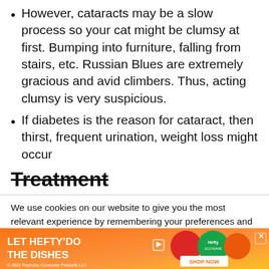However, cataracts may be a slow process so your cat might be clumsy at first. Bumping into furniture, falling from stairs, etc. Russian Blues are extremely gracious and avid climbers. Thus, acting clumsy is very suspicious.
If diabetes is the reason for cataract, then thirst, frequent urination, weight loss might occur
Treatment
We use cookies on our website to give you the most relevant experience by remembering your preferences and repeat visits. By clicking “Accept”, you consent to the use of ALL the cookies.
[Figure (other): Advertisement banner for Hefty EcoSave dish soap with orange gradient background, showing 'LET HEFTY DO THE DISHES' text, product images, and 'SHOP NOW' button.]